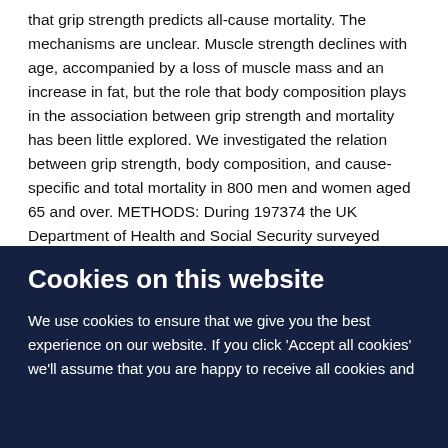that grip strength predicts all-cause mortality. The mechanisms are unclear. Muscle strength declines with age, accompanied by a loss of muscle mass and an increase in fat, but the role that body composition plays in the association between grip strength and mortality has been little explored. We investigated the relation between grip strength, body composition, and cause-specific and total mortality in 800 men and women aged 65 and over. METHODS: During 197374 the UK Department of Health and Social Security surveyed random samples of men and women aged 65 and over living in eight areas of Britain to assess the nutritional state of the elderly population. The survey included a clinical examination by a geriatrician who assessed grip strength and anthropometry. We used Cox proportional hazards models to
Cookies on this website
We use cookies to ensure that we give you the best experience on our website. If you click 'Accept all cookies' we'll assume that you are happy to receive all cookies and